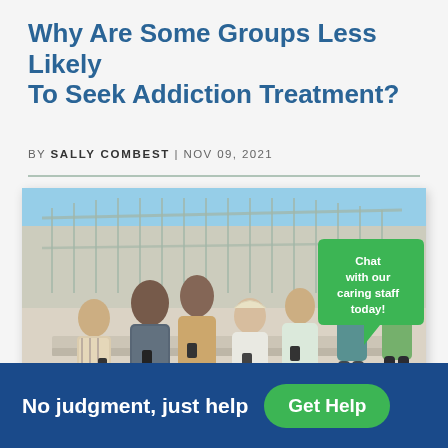Why Are Some Groups Less Likely To Seek Addiction Treatment?
BY SALLY COMBEST | NOV 09, 2021
[Figure (photo): Group of young people sitting outdoors on concrete steps, looking at their phones, with a fence and building in the background]
No judgment, just help
Get Help
Chat with our caring staff today!